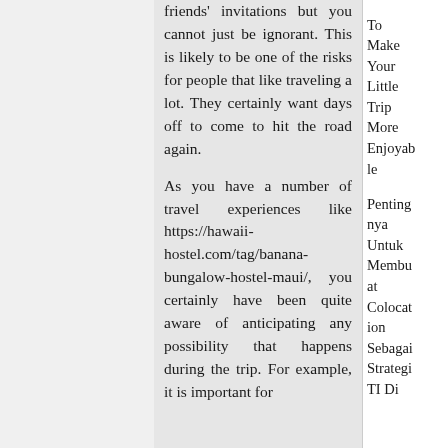friends' invitations but you cannot just be ignorant. This is likely to be one of the risks for people that like traveling a lot. They certainly want days off to come to hit the road again.

As you have a number of travel experiences like https://hawaii-hostel.com/tag/banana-bungalow-hostel-maui/, you certainly have been quite aware of anticipating any possibility that happens during the trip. For example, it is important for
To Make Your Little Trip More Enjoyable Pentingnya Untuk Membuat Colocation Sebagai Strategi TI Di